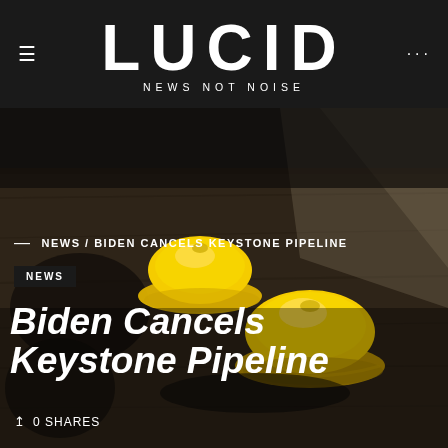LUCID NEWS NOT NOISE
[Figure (photo): Two yellow toy hard hats (construction helmets) resting on a dark wooden surface, dramatically lit from above with a dark background]
— NEWS / BIDEN CANCELS KEYSTONE PIPELINE
NEWS
Biden Cancels Keystone Pipeline
0 SHARES